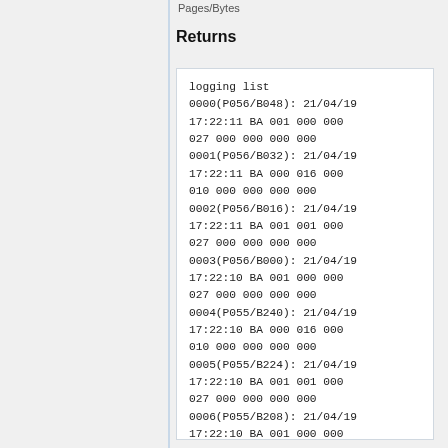Pages/Bytes
Returns
logging list
0000(P056/B048): 21/04/19
17:22:11 BA 001 000 000
027 000 000 000 000
0001(P056/B032): 21/04/19
17:22:11 BA 000 016 000
010 000 000 000 000
0002(P056/B016): 21/04/19
17:22:11 BA 001 001 000
027 000 000 000 000
0003(P056/B000): 21/04/19
17:22:10 BA 001 000 000
027 000 000 000 000
0004(P055/B240): 21/04/19
17:22:10 BA 000 016 000
010 000 000 000 000
0005(P055/B224): 21/04/19
17:22:10 BA 001 001 000
027 000 000 000 000
0006(P055/B208): 21/04/19
17:22:10 BA 001 000 000